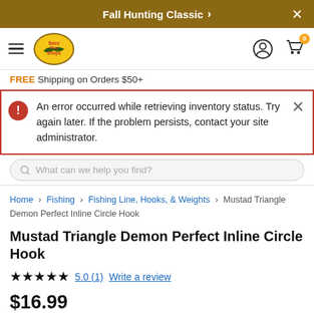Fall Hunting Classic >
[Figure (logo): Bass Pro Shops logo with hamburger menu, user icon, and cart icon with badge 0]
FREE Shipping on Orders $50+
An error occurred while retrieving inventory status. Try again later. If the problem persists, contact your site administrator.
What can we help you find?
Home > Fishing > Fishing Line, Hooks, & Weights > Mustad Triangle Demon Perfect Inline Circle Hook
Mustad Triangle Demon Perfect Inline Circle Hook
★★★★★ 5.0 (1) Write a review
$16.99
SAVE TODAY! GET THIS ITEM FREE with $20 in CLUB